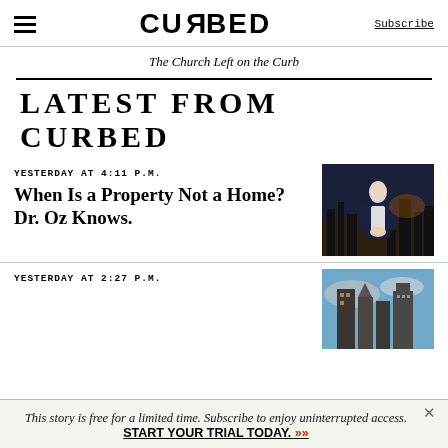CURBED | Subscribe
The Church Left on the Curb
LATEST FROM CURBED
YESTERDAY AT 4:11 P.M.
When Is a Property Not a Home? Dr. Oz Knows.
[Figure (photo): Photo of Dr. Oz standing in front of a city skyline at night, wearing a dark suit]
YESTERDAY AT 2:27 P.M.
[Figure (photo): Photo of modern city buildings with dramatic sky]
This story is free for a limited time. Subscribe to enjoy uninterrupted access. START YOUR TRIAL TODAY.